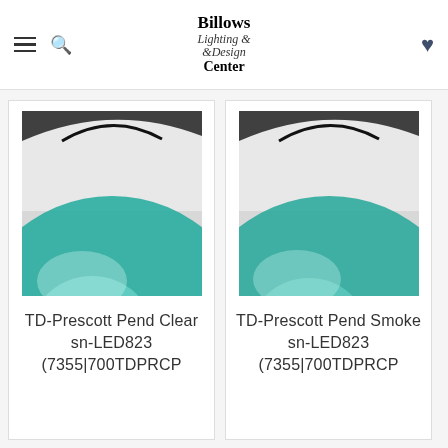Billows Lighting & Design Center
[Figure (screenshot): Product image of teal/aqua glass pendant light shade, close-up showing curved glass top]
TD-Prescott Pend Clear sn-LED823 (7355|700TDPRCP
[Figure (screenshot): Product image of teal/aqua glass pendant light shade (smoke variant), close-up showing curved glass top]
TD-Prescott Pend Smoke sn-LED823 (7355|700TDPRCP